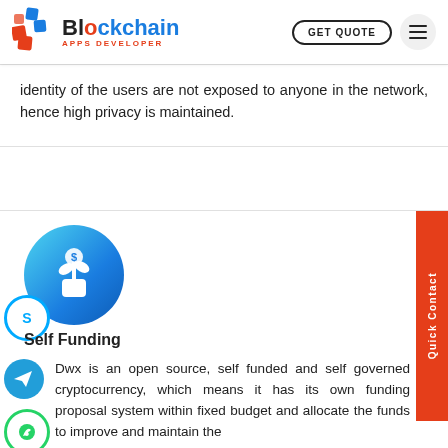Blockchain Apps Developer | GET QUOTE
identity of the users are not exposed to anyone in the network, hence high privacy is maintained.
[Figure (illustration): Teal/blue gradient circle with a white plant/money growth icon (dollar coin and leaves in a pot), representing self funding concept]
Self Funding
Dwx is an open source, self funded and self governed cryptocurrency, which means it has its own funding proposal system within fixed budget and allocate the funds to improve and maintain the